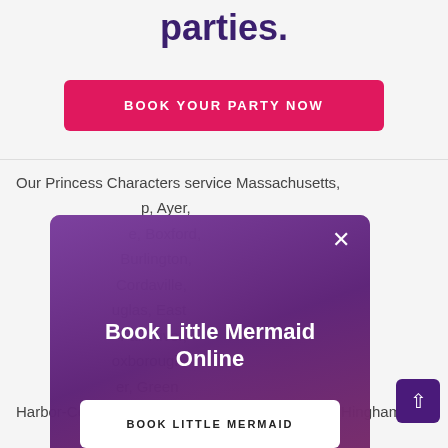parties.
BOOK YOUR PARTY NOW
Our Princess Characters service Massachusetts, p, Ayer, e, Boxford, Burlington, Cordaville, uglas, East Fall River, oxborough, er, Green Harbor-Cedar Crest, Groton , Hanson, Haverhill, Hingham,
Book Little Mermaid Online
BOOK LITTLE MERMAID